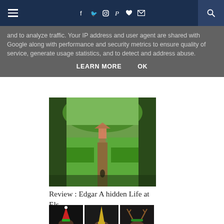Navigation bar with hamburger menu, social icons (facebook, twitter, instagram, pinterest, heart, mail), and search
and to analyze traffic. Your IP address and user agent are shared with Google along with performance and security metrics to ensure quality of service, generate usage statistics, and to detect and address abuse.
LEARN MORE   OK
[Figure (photo): Garden path framed by trees leading to a gazebo or garden structure in a lush green garden]
Review : Edgar A hidden Life at Els...
[Figure (photo): Three thumbnail photos showing performers in costume including Christmas hats and reindeer antlers]